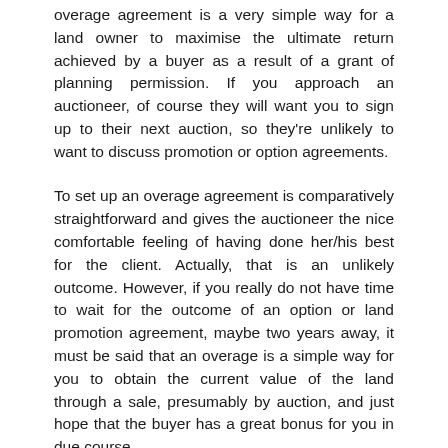overage agreement is a very simple way for a land owner to maximise the ultimate return achieved by a buyer as a result of a grant of planning permission. If you approach an auctioneer, of course they will want you to sign up to their next auction, so they're unlikely to want to discuss promotion or option agreements.
To set up an overage agreement is comparatively straightforward and gives the auctioneer the nice comfortable feeling of having done her/his best for the client. Actually, that is an unlikely outcome. However, if you really do not have time to wait for the outcome of an option or land promotion agreement, maybe two years away, it must be said that an overage is a simple way for you to obtain the current value of the land through a sale, presumably by auction, and just hope that the buyer has a great bonus for you in due course.